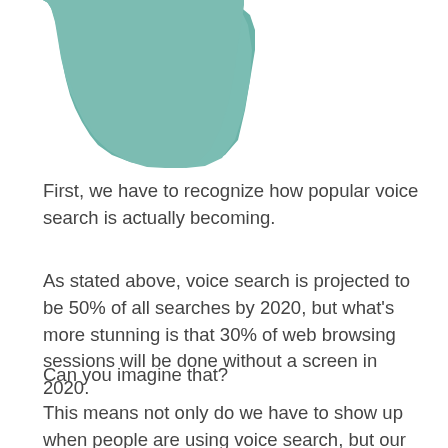[Figure (illustration): A teal/muted green trapezoid shape (abstract geometric illustration), partially cut off at top, with a small white feather or brushstroke at the bottom-left corner. Positioned in the upper-left area of the page.]
First, we have to recognize how popular voice search is actually becoming.
As stated above, voice search is projected to be 50% of all searches by 2020, but what’s more stunning is that 30% of web browsing sessions will be done without a screen in 2020.
Can you imagine that?
This means not only do we have to show up when people are using voice search, but our content has